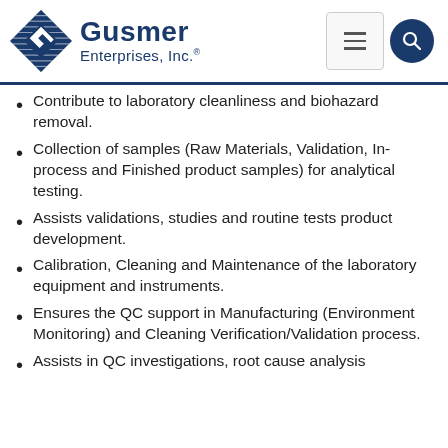Gusmer Enterprises, Inc.
Contribute to laboratory cleanliness and biohazard removal.
Collection of samples (Raw Materials, Validation, In-process and Finished product samples) for analytical testing.
Assists validations, studies and routine tests product development.
Calibration, Cleaning and Maintenance of the laboratory equipment and instruments.
Ensures the QC support in Manufacturing (Environment Monitoring) and Cleaning Verification/Validation process.
Assists in QC investigations, root cause analysis